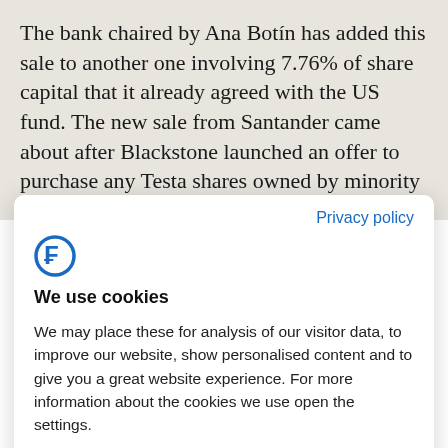The bank chaired by Ana Botín has added this sale to another one involving 7.76% of share capital that it already agreed with the US fund. The new sale from Santander came about after Blackstone launched an offer to purchase any Testa shares owned by minority shareholders, a total of 709,508
Privacy policy
[Figure (logo): Blue circular logo icon with stylized F letter]
We use cookies
We may place these for analysis of our visitor data, to improve our website, show personalised content and to give you a great website experience. For more information about the cookies we use open the settings.